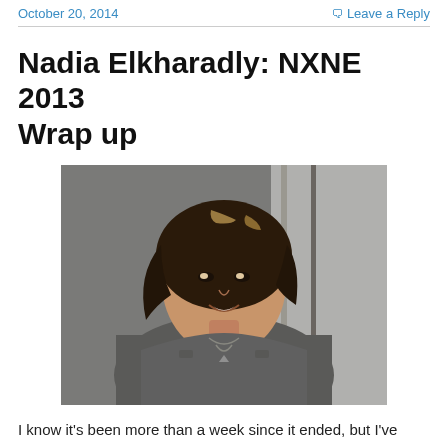October 20, 2014     Leave a Reply
Nadia Elkharadly: NXNE 2013 Wrap up
[Figure (photo): Portrait photo of a young woman with medium-length dark brown hair with highlights, smiling, wearing a gray tank top and a necklace, posed near a window.]
I know it's been more than a week since it ended, but I've